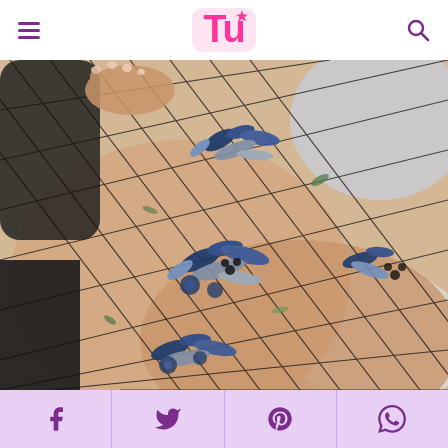Tu (magazine website header with logo and navigation)
[Figure (photo): Close-up photograph of legs wearing black fishnet stockings decorated with 3D embroidered floral appliques in navy blue and silver/metallic tones. A hand is visible at the top adjusting the stocking. The background is light gray/white.]
Social share buttons: Facebook, Twitter, Pinterest, WhatsApp